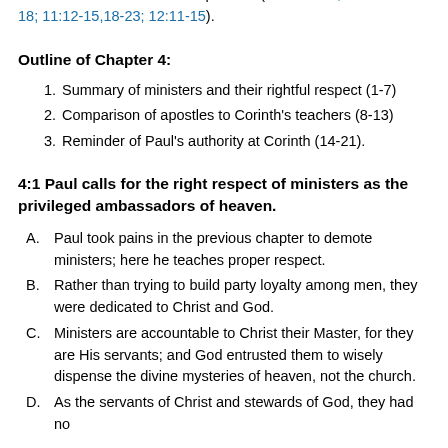arrogant teachers undermining Paul's authority and violating New Testament doctrine and practice (I Cor 15:12; II Cor 10:10-18; 11:12-15,18-23; 12:11-15).
Outline of Chapter 4:
Summary of ministers and their rightful respect (1-7)
Comparison of apostles to Corinth's teachers (8-13)
Reminder of Paul's authority at Corinth (14-21).
4:1 Paul calls for the right respect of ministers as the privileged ambassadors of heaven.
Paul took pains in the previous chapter to demote ministers; here he teaches proper respect.
Rather than trying to build party loyalty among men, they were dedicated to Christ and God.
Ministers are accountable to Christ their Master, for they are His servants; and God entrusted them to wisely dispense the divine mysteries of heaven, not the church.
As the servants of Christ and stewards of God, they had no